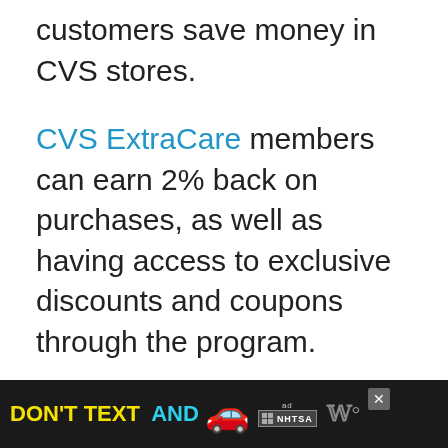customers save money in CVS stores.
CVS ExtraCare members can earn 2% back on purchases, as well as having access to exclusive discounts and coupons through the program.
The ExtraCare program at CVS allows customers to save money, and the frequency of discounts they offer helps customers combat their expensive pr...
[Figure (other): Advertisement banner: DON'T TEXT AND [car emoji] with ad badge and NHTSA logo on dark background]